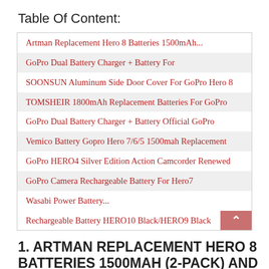Table Of Content:
| Artman Replacement Hero 8 Batteries 1500mAh... |
| GoPro Dual Battery Charger + Battery For |
| SOONSUN Aluminum Side Door Cover For GoPro Hero 8 |
| TOMSHEIR 1800mAh Replacement Batteries For GoPro |
| GoPro Dual Battery Charger + Battery Official GoPro |
| Vemico Battery Gopro Hero 7/6/5 1500mah Replacement |
| GoPro HERO4 Silver Edition Action Camcorder Renewed |
| GoPro Camera Rechargeable Battery For Hero7 |
| Wasabi Power Battery... |
| Rechargeable Battery HERO10 Black/HERO9 Black |
1. ARTMAN REPLACEMENT HERO 8 BATTERIES 1500MAH (2-PACK) AND 3-